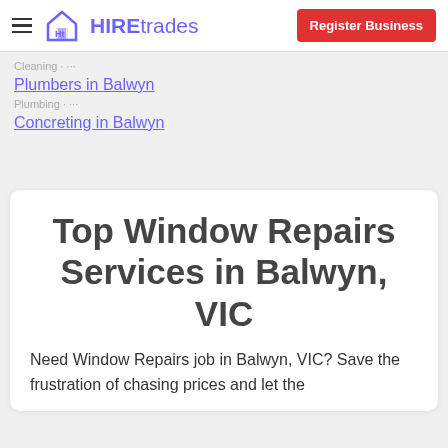HIREtrades | Register Business
Plumbers in Balwyn
Concreting in Balwyn
Top Window Repairs Services in Balwyn, VIC
Need Window Repairs job in Balwyn, VIC? Save the frustration of chasing prices and let the